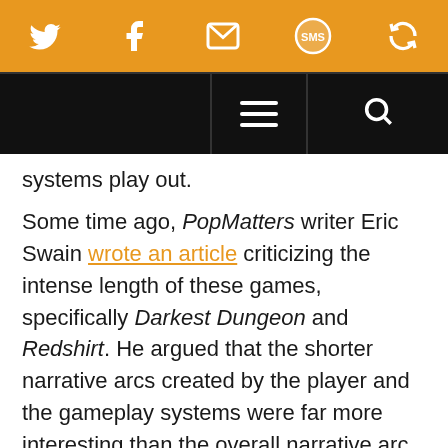[Figure (screenshot): Orange social sharing bar with Twitter, Facebook, email, SMS, and another icon]
[Figure (screenshot): Black navigation bar with hamburger menu and search icon]
systems play out.
Some time ago, PopMatters writer Eric Swain wrote an article criticizing the intense length of these games, specifically Darkest Dungeon and Redshirt. He argued that the shorter narrative arcs created by the player and the gameplay systems were far more interesting than the overall narrative arc that constituted the “real” story.
In Darkest Dungeon, his vestal healer “…was the